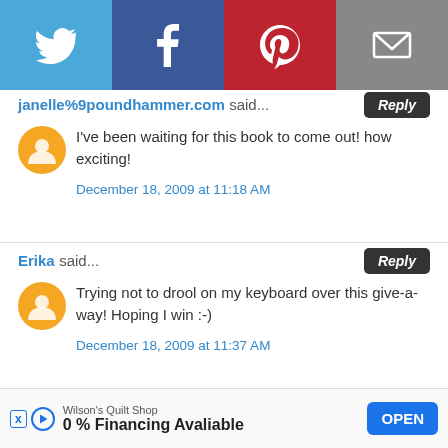[Figure (screenshot): Social sharing bar with Twitter, Facebook, Pinterest, and Email buttons]
janelle%9poundhammer.com said...
I've been waiting for this book to come out! how exciting!
December 18, 2009 at 11:18 AM
Erika said...
Trying not to drool on my keyboard over this give-a-way! Hoping I win :-)
December 18, 2009 at 11:37 AM
Kaleidoscope Eyes 8 said...
I am leaving a comment and sharing this on my Google Reader!
[Figure (screenshot): Advertisement banner: Wilson's Quilt Shop - 0% Financing Avaliable - OPEN button]